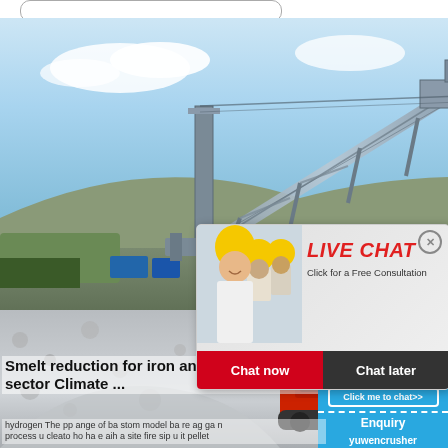[Figure (photo): Industrial conveyor belt structure against blue sky with mountains in background]
[Figure (photo): Mobile stone crusher machine with crushed aggregate in foreground]
[Figure (screenshot): Live chat popup overlay with workers in hard hats. Title: LIVE CHAT. Subtitle: Click for a Free Consultation. Buttons: Chat now, Chat later.]
[Figure (photo): Right sidebar with crusher machine image, hour online text, Click me to chat button, Enquiry and yuwencrusher brand]
Smelt reduction for iron and steel sector Climate ...
hydrogen The pp ange of ba stom model ba re ag ga n process u cleato ho ha e aih a site fire sip u it pellet